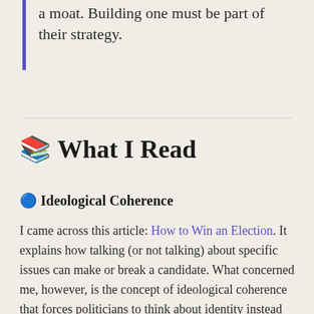a moat. Building one must be part of their strategy.
📚 What I Read
🔵 Ideological Coherence
I came across this article: How to Win an Election. It explains how talking (or not talking) about specific issues can make or break a candidate. What concerned me, however, is the concept of ideological coherence that forces politicians to think about identity instead of thinking about the best way to fix an issue.